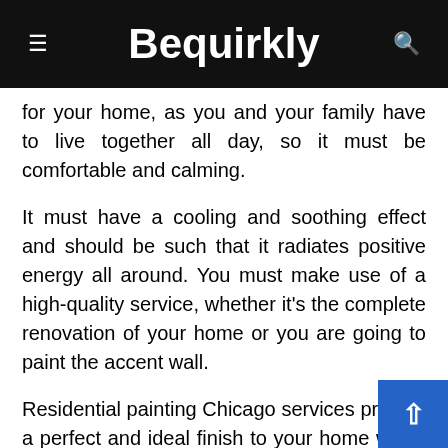Bequirkly
for your home, as you and your family have to live together all day, so it must be comfortable and calming.
It must have a cooling and soothing effect and should be such that it radiates positive energy all around. You must make use of a high-quality service, whether it's the complete renovation of your home or you are going to paint the accent wall.
Residential painting Chicago services provide a perfect and ideal finish to your home walls, making them have a sparkling look. Whether you are looking for a painting or any drywall da repair, you must consult them for the best